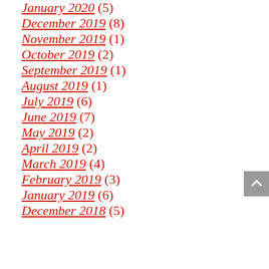January 2020 (5)
December 2019 (8)
November 2019 (1)
October 2019 (2)
September 2019 (1)
August 2019 (1)
July 2019 (6)
June 2019 (7)
May 2019 (2)
April 2019 (2)
March 2019 (4)
February 2019 (3)
January 2019 (6)
December 2018 (5)